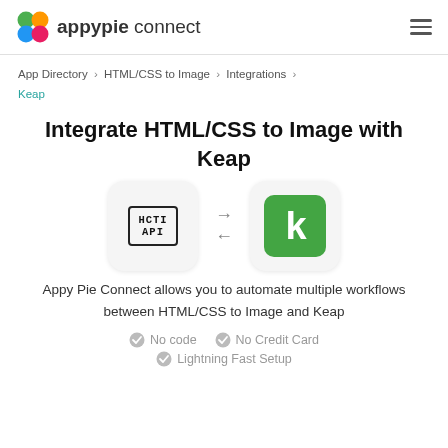appypie connect
App Directory > HTML/CSS to Image > Integrations > Keap
Integrate HTML/CSS to Image with Keap
[Figure (illustration): Two integration logos side by side with bidirectional arrows between them. Left: HCTI API logo (text in a bordered box). Right: Keap logo (white k on green rounded square background).]
Appy Pie Connect allows you to automate multiple workflows between HTML/CSS to Image and Keap
No code
No Credit Card
Lightning Fast Setup